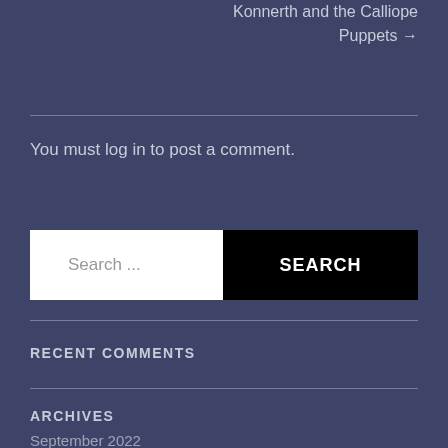Konnerth and the Calliope Puppets →
You must log in to post a comment.
[Figure (other): Search bar with text input showing 'Search ...' placeholder and a black SEARCH button]
RECENT COMMENTS
ARCHIVES
September 2022